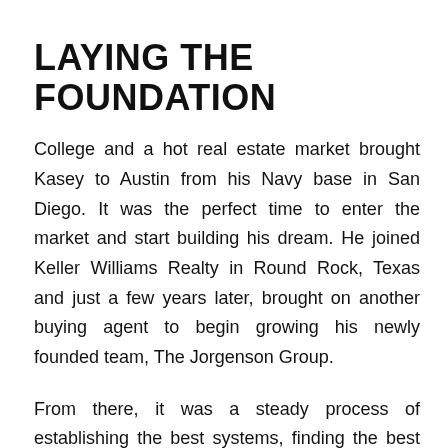LAYING THE FOUNDATION
College and a hot real estate market brought Kasey to Austin from his Navy base in San Diego. It was the perfect time to enter the market and start building his dream. He joined Keller Williams Realty in Round Rock, Texas and just a few years later, brought on another buying agent to begin growing his newly founded team, The Jorgenson Group.
From there, it was a steady process of establishing the best systems, finding the best talent, and - above all else - sticking to Kasey’s goal of being a customer service company that just happens to sell real estate. He had a philosophy that became the team’s foundation, and it was